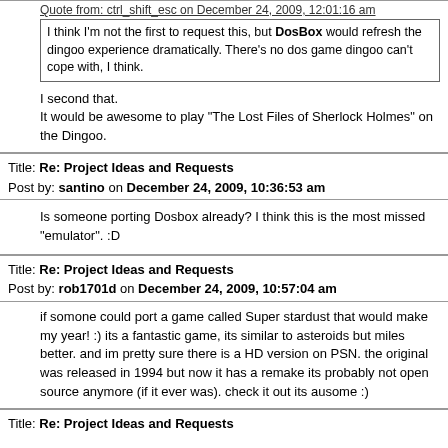Quote from: ctrl_shift_esc on December 24, 2009, 12:01:16 am
I think I'm not the first to request this, but DosBox would refresh the dingoo experience dramatically. There's no dos game dingoo can't cope with, I think.
I second that.
It would be awesome to play "The Lost Files of Sherlock Holmes" on the Dingoo.
Title: Re: Project Ideas and Requests
Post by: santino on December 24, 2009, 10:36:53 am
Is someone porting Dosbox already? I think this is the most missed "emulator". :D
Title: Re: Project Ideas and Requests
Post by: rob1701d on December 24, 2009, 10:57:04 am
if somone could port a game called Super stardust that would make my year! :) its a fantastic game, its similar to asteroids but miles better. and im pretty sure there is a HD version on PSN. the original was released in 1994 but now it has a remake its probably not open source anymore (if it ever was). check it out its ausome :)
Title: Re: Project Ideas and Requests